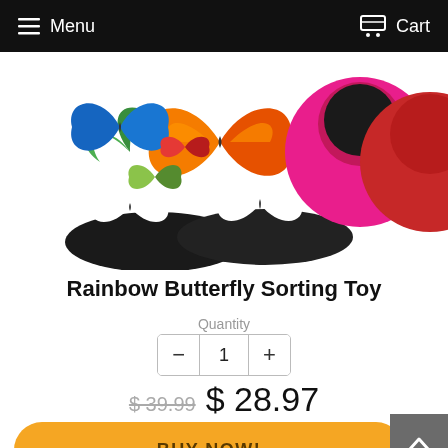Menu   Cart
[Figure (photo): Colorful butterfly sorting toy with black disc bases showing white butterfly silhouettes, multicolored butterfly figures on top, and pink/red round containers in background]
Rainbow Butterfly Sorting Toy
Quantity
− 1 +
$39.99  $28.97
BUY NOW!
[Figure (photo): Partial view of apple-shaped sorting toy with dark red apple halves and small colorful sorting pieces visible at bottom of page]